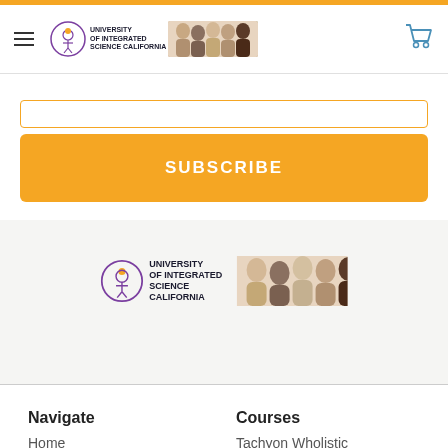University of Integrated Science California - navigation header with logo, hamburger menu, and cart icon
[input field / subscribe email bar]
SUBSCRIBE
[Figure (logo): University of Integrated Science California logo with circle figure icon, text, and group photo of diverse people]
Navigate
Courses
Home
Tachyon Wholistic